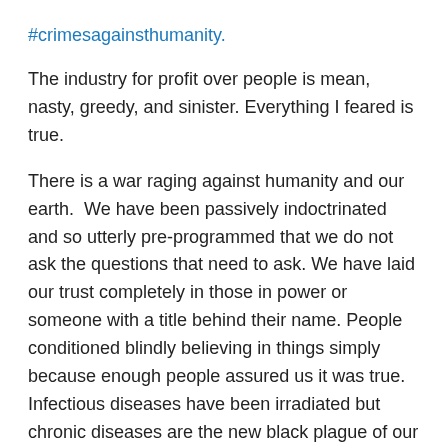#crimesagainsthumanity.
The industry for profit over people is mean, nasty, greedy, and sinister. Everything I feared is true.
There is a war raging against humanity and our earth.  We have been passively indoctrinated and so utterly pre-programmed that we do not ask the questions that need to ask. We have laid our trust completely in those in power or someone with a title behind their name. People conditioned blindly believing in things simply because enough people assured us it was true. Infectious diseases have been irradiated but chronic diseases are the new black plague of our modern time. This book is profoundly personal as it represents a mission brimming with meaning.  As I reflect on extraordinary truths about our nation's health history, current, and future, I also offer you